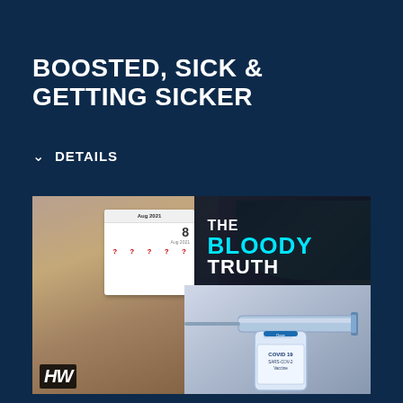BOOSTED, SICK & GETTING SICKER
✓ DETAILS
[Figure (photo): Composite image showing a woman holding a calendar with red question marks, alongside text reading 'THE BLOODY TRUTH' in white and cyan on dark background, and a COVID-19 SARS-CoV-2 vaccine vial with syringe. HW logo in bottom left corner.]